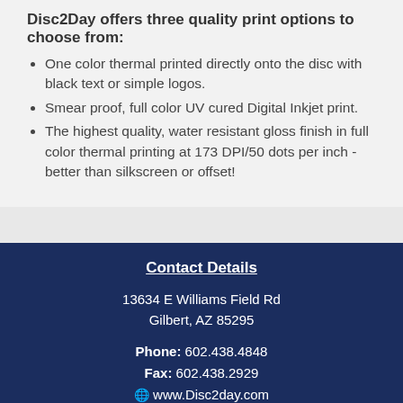Disc2Day offers three quality print options to choose from:
One color thermal printed directly onto the disc with black text or simple logos.
Smear proof, full color UV cured Digital Inkjet print.
The highest quality, water resistant gloss finish in full color thermal printing at 173 DPI/50 dots per inch - better than silkscreen or offset!
Contact Details
13634 E Williams Field Rd
Gilbert, AZ 85295
Phone: 602.438.4848
Fax: 602.438.2929
🌐 www.Disc2day.com
✉ Robert@Disc2day.com